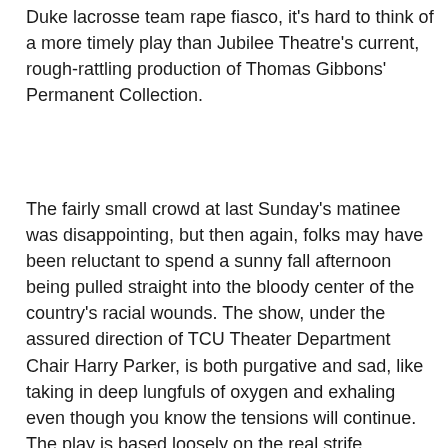Duke lacrosse team rape fiasco, it's hard to think of a more timely play than Jubilee Theatre's current, rough-rattling production of Thomas Gibbons' Permanent Collection.
The fairly small crowd at last Sunday's matinee was disappointing, but then again, folks may have been reluctant to spend a sunny fall afternoon being pulled straight into the bloody center of the country's racial wounds. The show, under the assured direction of TCU Theater Department Chair Harry Parker, is both purgative and sad, like taking in deep lungfuls of oxygen and exhaling even though you know the tensions will continue. The play is based loosely on the real strife surrounding the Philadelphia-based Barnes Foundation, which boasts a world-class selection of Impressionist and Post-Impressionist works whose stewardship was explicitly outlined in the will of the eccentric rich guy who spent his life assembling it. All of those details form the background of Gibbons' DELETE, but the playwright takes the facts in explosive new directions: In Jubilee's show, the renamed Morris Foundation has been placed under the